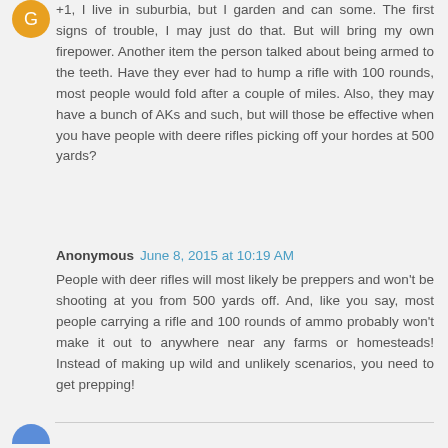+1, I live in suburbia, but I garden and can some. The first signs of trouble, I may just do that. But will bring my own firepower. Another item the person talked about being armed to the teeth. Have they ever had to hump a rifle with 100 rounds, most people would fold after a couple of miles. Also, they may have a bunch of AKs and such, but will those be effective when you have people with deere rifles picking off your hordes at 500 yards?
Anonymous June 8, 2015 at 10:19 AM
People with deer rifles will most likely be preppers and won't be shooting at you from 500 yards off. And, like you say, most people carrying a rifle and 100 rounds of ammo probably won't make it out to anywhere near any farms or homesteads! Instead of making up wild and unlikely scenarios, you need to get prepping!